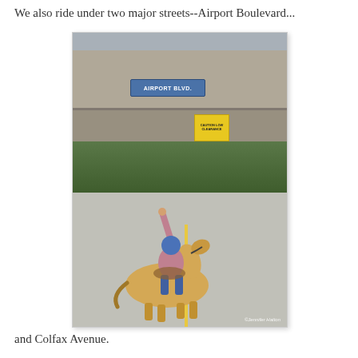We also ride under two major streets--Airport Boulevard...
[Figure (photo): A person riding a palomino horse under a concrete overpass bridge labeled 'AIRPORT BLVD.' The rider is wearing a blue helmet and reaching up toward the underside of the bridge. Green vegetation is visible in the background and a path runs under the bridge. A yellow warning sign hangs from the bridge underside.]
and Colfax Avenue.